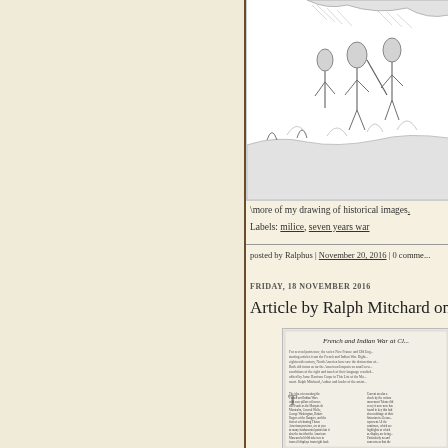[Figure (illustration): Partial view of a historical pen-and-ink illustration of soldiers or militia figures, cropped at top of page]
\more of my drawing of historical images.
Labels: milice, seven years war
posted by Ralphus | November 20, 2016 | 0 comme...
FRIDAY, 18 NOVEMBER 2016
Article by Ralph Mitchard on
[Figure (screenshot): Screenshot of a printed magazine or journal article titled 'French and Indian War at Cl...' with dense text columns]